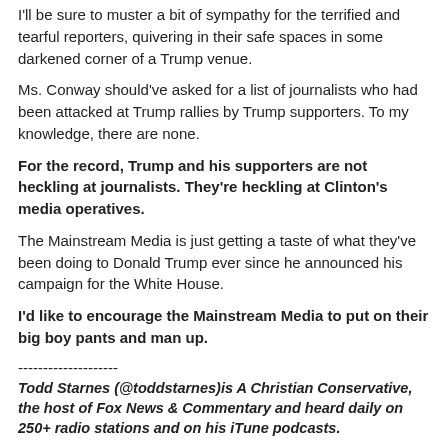I'll be sure to muster a bit of sympathy for the terrified and tearful reporters, quivering in their safe spaces in some darkened corner of a Trump venue.
Ms. Conway should've asked for a list of journalists who had been attacked at Trump rallies by Trump supporters. To my knowledge, there are none.
For the record, Trump and his supporters are not heckling at journalists. They're heckling at Clinton's media operatives.
The Mainstream Media is just getting a taste of what they've been doing to Donald Trump ever since he announced his campaign for the White House.
I'd like to encourage the Mainstream Media to put on their big boy pants and man up.
--------------------
Todd Starnes (@toddstarnes)is A Christian Conservative, the host of Fox News & Commentary and heard daily on 250+ radio stations and on his iTune podcasts.